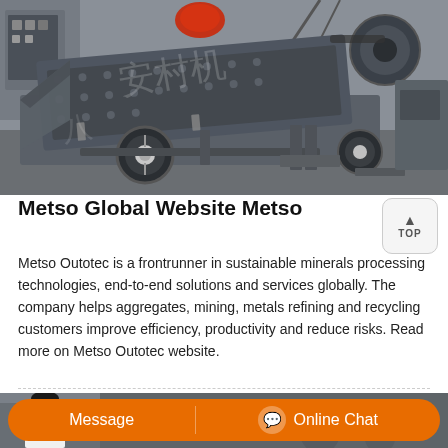[Figure (photo): Large industrial mobile screening/crushing machine on wheels in a factory/workshop setting. Machine is gray colored with heavy steel construction. Chinese watermark text visible. Photo taken in an industrial facility.]
Metso Global Website Metso
Metso Outotec is a frontrunner in sustainable minerals processing technologies, end-to-end solutions and services globally. The company helps aggregates, mining, metals refining and recycling customers improve efficiency, productivity and reduce risks. Read more on Metso Outotec website.
[Figure (photo): Bottom banner area showing a customer service representative (woman with headset) on left side, and an orange pill-shaped button bar containing 'Message' on left and 'Online Chat' with chat icon on right.]